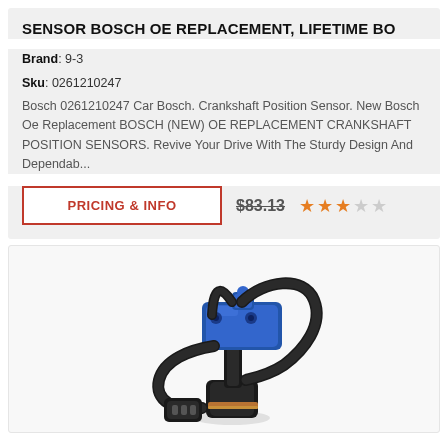SENSOR BOSCH OE REPLACEMENT, LIFETIME BO
Brand: 9-3
Sku: 0261210247
Bosch 0261210247 Car Bosch. Crankshaft Position Sensor. New Bosch Oe Replacement BOSCH (NEW) OE REPLACEMENT CRANKSHAFT POSITION SENSORS. Revive Your Drive With The Sturdy Design And Dependab...
PRICING & INFO
$83.13
[Figure (photo): Bosch crankshaft position sensor with blue plastic mounting bracket and black wiring harness/connector]